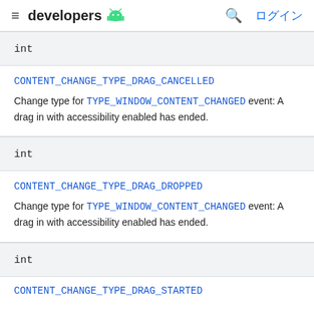developers [android logo] [search] ログイン
int
CONTENT_CHANGE_TYPE_DRAG_CANCELLED
Change type for TYPE_WINDOW_CONTENT_CHANGED event: A drag in with accessibility enabled has ended.
int
CONTENT_CHANGE_TYPE_DRAG_DROPPED
Change type for TYPE_WINDOW_CONTENT_CHANGED event: A drag in with accessibility enabled has ended.
int
CONTENT_CHANGE_TYPE_DRAG_STARTED